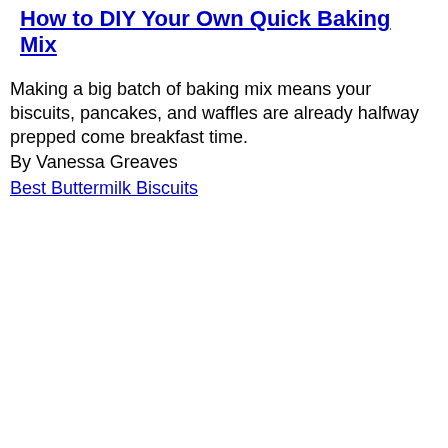How to DIY Your Own Quick Baking Mix
Making a big batch of baking mix means your biscuits, pancakes, and waffles are already halfway prepped come breakfast time.
By Vanessa Greaves
Best Buttermilk Biscuits